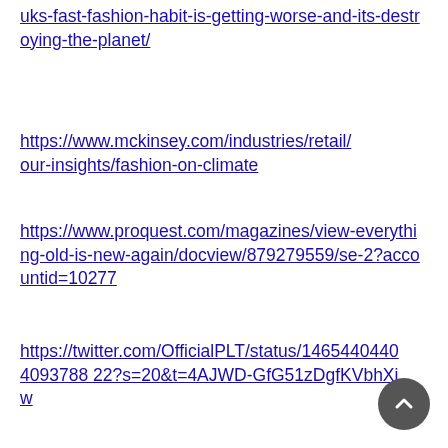uks-fast-fashion-habit-is-getting-worse-and-its-destroying-the-planet/
https://www.mckinsey.com/industries/retail/our-insights/fashion-on-climate
https://www.proquest.com/magazines/view-everything-old-is-new-again/docview/879279559/se-2?accountid=10277
https://twitter.com/OfficialPLT/status/146544044040937882 2?s=20&t=4AJWD-GfG51zDgfKVbhXjw